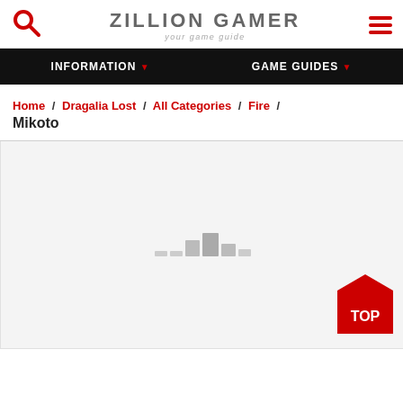ZILLION GAMER - your game guide
INFORMATION ▼   GAME GUIDES ▼
Home / Dragalia Lost / All Categories / Fire / Mikoto
[Figure (other): Loading spinner / content placeholder area with small grey bar animation in center]
TOP